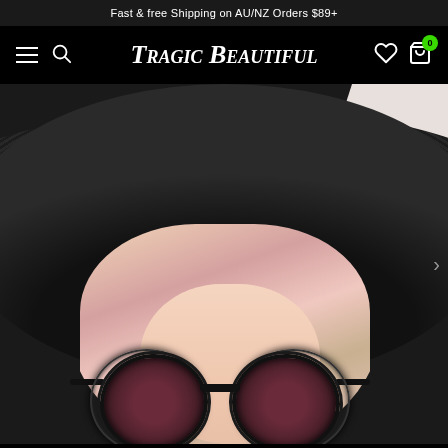Fast & free Shipping on AU/NZ Orders $89+
Tragic Beautiful
[Figure (photo): A person wearing a large black wide-brim hat and ornate black heart-shaped sunglasses with pink/blonde hair visible beneath the hat. The decorative sunglasses have an elaborate black frame. Background is neutral grey/white on the right side.]